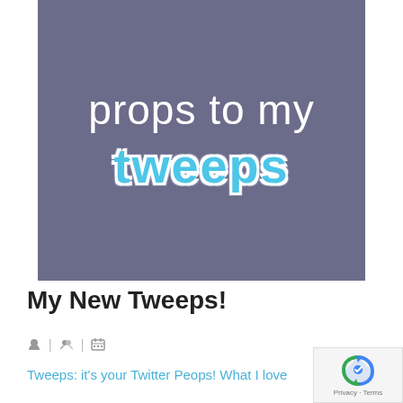[Figure (illustration): A grey-purple background image with white text 'props to my' and stylized blue text 'tweeps' with white outline]
My New Tweeps!
icons for author, category, and calendar
Tweeps: it's your Twitter Peops! What I love